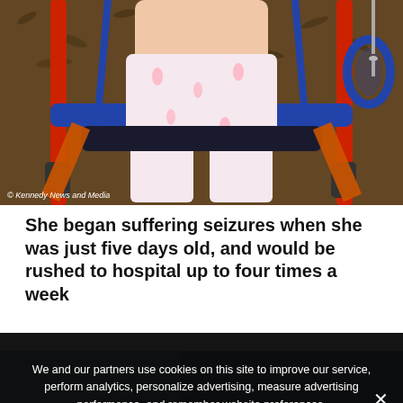[Figure (photo): Young child sitting in a playground bucket swing, wearing a white outfit with pink flamingo print. The swing frame is red and blue. A dark rubber mulch ground is visible.]
© Kennedy News and Media
She began suffering seizures when she was just five days old, and would be rushed to hospital up to four times a week
[Figure (photo): Partial view of a second photograph, cropped at bottom of visible area.]
We and our partners use cookies on this site to improve our service, perform analytics, personalize advertising, measure advertising performance, and remember website preferences.